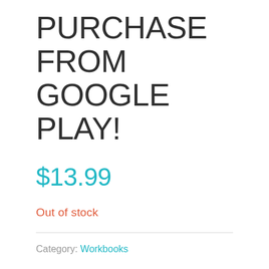PURCHASE FROM GOOGLE PLAY!
$13.99
Out of stock
Category: Workbooks
Be THERE!!
The Skillpod 7 Skills Workbook is